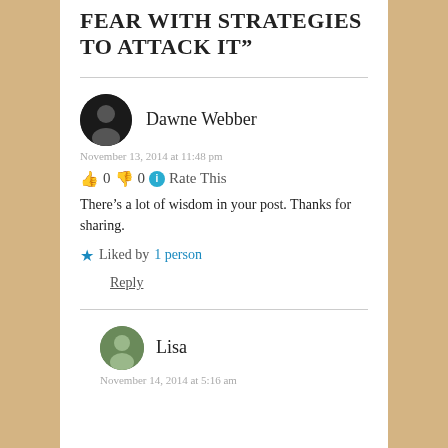FEAR WITH STRATEGIES TO ATTACK IT”
Dawne Webber
November 13, 2014 at 11:48 pm
👍 0 👎 0 ℹ Rate This
There’s a lot of wisdom in your post. Thanks for sharing.
★ Liked by 1 person
Reply
Lisa
November 14, 2014 at 5:16 am